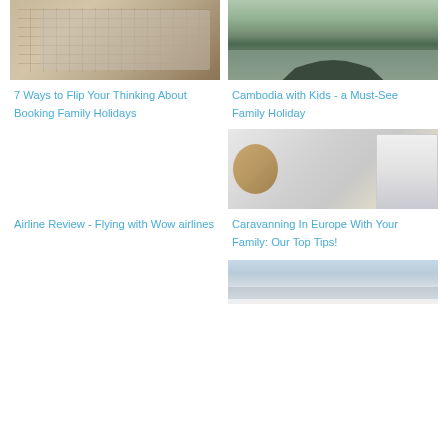[Figure (photo): Overhead view of person planning travel with laptop, maps, compass and accessories on wooden table]
[Figure (photo): Angkor Wat temple complex reflected in water, surrounded by trees, overcast sky]
7 Ways to Flip Your Thinking About Booking Family Holidays
Cambodia with Kids - a Must-See Family Holiday
[Figure (photo): Two smiling children (boy and girl) leaning out of a caravan/motorhome door]
Airline Review - Flying with Wow airlines
Caravanning In Europe With Your Family: Our Top Tips!
[Figure (photo): Winter road scene with snow-covered trees and mountains in background, car on road]